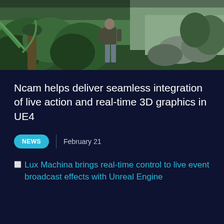[Figure (photo): Person standing in a lush green jungle/forest environment with tropical ferns and foliage; real-time 3D environment rendered in UE4]
Ncam helps deliver seamless integration of live action and real-time 3D graphics in UE4
NEWS  |  February 21
[image] Lux Machina brings real-time control to live event broadcast effects with Unreal Engine